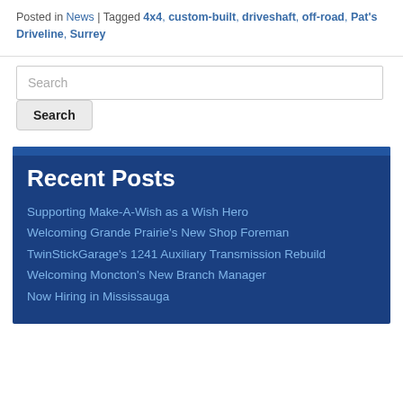Posted in News | Tagged 4x4, custom-built, driveshaft, off-road, Pat's Driveline, Surrey
Search
Recent Posts
Supporting Make-A-Wish as a Wish Hero
Welcoming Grande Prairie's New Shop Foreman
TwinStickGarage's 1241 Auxiliary Transmission Rebuild
Welcoming Moncton's New Branch Manager
Now Hiring in Mississauga